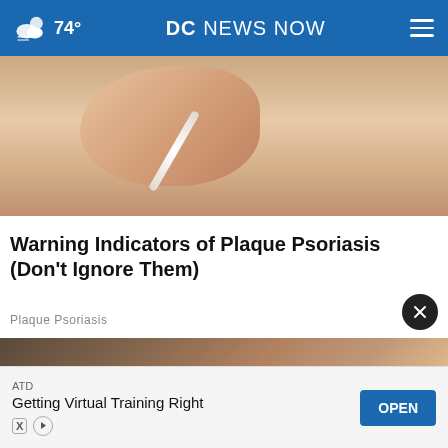74° DC NEWS NOW
[Figure (photo): Close-up photograph of a hand applying a cotton swab to skin, pinkish skin tones visible]
Warning Indicators of Plaque Psoriasis (Don't Ignore Them)
Plaque Psoriasis
[Figure (photo): Person in dark jacket holding a wooden spoon near Arm & Hammer baking soda box and a bowl]
ATD Getting Virtual Training Right